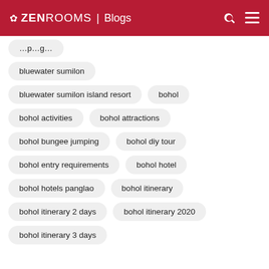ZEN ROOMS | Blogs
bluewater sumilon
bluewater sumilon island resort
bohol
bohol activities
bohol attractions
bohol bungee jumping
bohol diy tour
bohol entry requirements
bohol hotel
bohol hotels panglao
bohol itinerary
bohol itinerary 2 days
bohol itinerary 2020
bohol itinerary 3 days